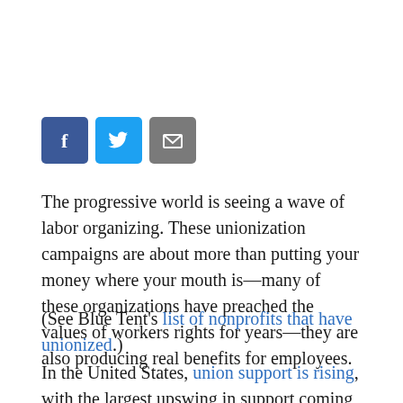[Figure (other): Social sharing buttons: Facebook (dark blue), Twitter (light blue), Email (gray)]
The progressive world is seeing a wave of labor organizing. These unionization campaigns are about more than putting your money where your mouth is—many of these organizations have preached the values of workers rights for years—they are also producing real benefits for employees.
(See Blue Tent's list of nonprofits that have unionized.)
In the United States, union support is rising, with the largest upswing in support coming from workers under 35;